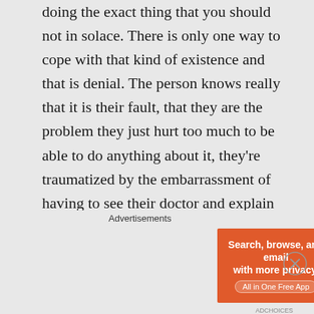doing the exact thing that you should not in solace. There is only one way to cope with that kind of existence and that is denial. The person knows really that it is their fault, that they are the problem they just hurt too much to be able to do anything about it, they're traumatized by the embarrassment of having to see their doctor and explain how they are worse than before. Knowing it is their fault and that they will get worse. It is those
Advertisements
[Figure (other): DuckDuckGo advertisement banner: orange left side with text 'Search, browse, and email with more privacy. All in One Free App', dark right side with DuckDuckGo duck logo and DuckDuckGo text.]